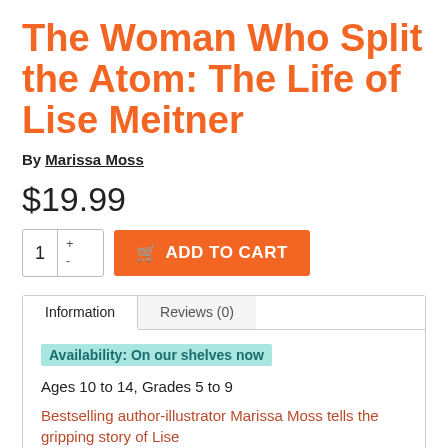The Woman Who Split the Atom: The Life of Lise Meitner
By Marissa Moss
$19.99
ADD TO CART
Information | Reviews (0)
Availability: On our shelves now
Ages 10 to 14, Grades 5 to 9
Bestselling author-illustrator Marissa Moss tells the gripping story of Lise